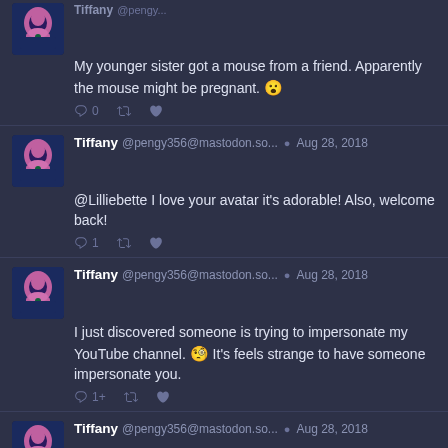My younger sister got a mouse from a friend. Apparently the mouse might be pregnant. 😮
0 retweets star
Tiffany @pengy356@mastodon.so... Aug 28, 2018 @Lilliebette I love your avatar it's adorable! Also, welcome back!
1 retweets star
Tiffany @pengy356@mastodon.so... Aug 28, 2018 I just discovered someone is trying to impersonate my YouTube channel. 🧐 It's feels strange to have someone impersonate you.
1+ retweets star
Tiffany @pengy356@mastodon.so... Aug 28, 2018 I want to continue staying up later, but it's 4:11 am. Welp it's time for bed! 😪